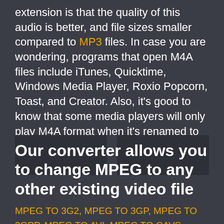extension is that the quality of this audio is better, and file sizes smaller compared to MP3 files. In case you are wondering, programs that open M4A files include iTunes, Quicktime, Windows Media Player, Roxio Popcorn, Toast, and Creator. Also, it's good to know that some media players will only play M4A format when it's renamed to MP4.
[Figure (other): Two placeholder image boxes shown below the text block]
Our converter allows you to change MPEG to any other existing video file
MPEG TO 3G2, MPEG TO 3GP, MPEG TO 3GPP, MPEG TO AVI, MPEG TO CAVS, MPEG TO DV, MPEG TO DVR, MPEG TO FLV, MPEG TO M2TS, MPEG TO M4V, MPEG TO MKV